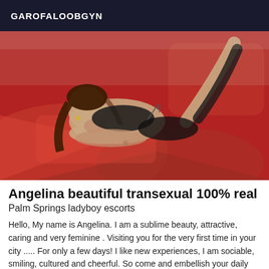GAROFALOOBGYN
[Figure (photo): Woman in black lingerie posing on red bedding/sheets]
Angelina beautiful transexual 100% real
Palm Springs ladyboy escorts
Hello, My name is Angelina. I am a sublime beauty, attractive, caring and very feminine . Visiting you for the very first time in your city ..... For only a few days! I like new experiences, I am sociable, smiling, cultured and cheerful. So come and embellish your daily life with a